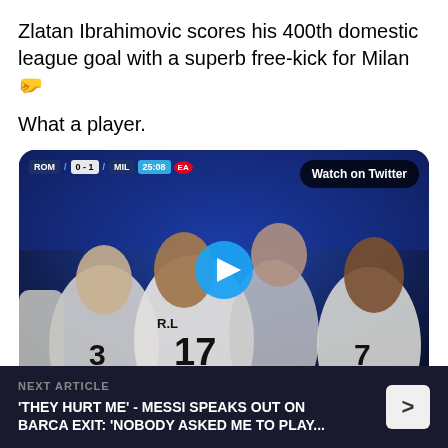Zlatan Ibrahimovic scores his 400th domestic league goal with a superb free-kick for Milan 🤛
What a player.
[Figure (screenshot): Video thumbnail showing AC Milan players celebrating a goal with scoreboard showing ROM 0-1 MIL 25:08. A blue play button is visible in the center. 'Watch on Twitter' button in top right. BT Sport 1 logo in bottom right.]
NEXT ARTICLE
'THEY HURT ME' - MESSI SPEAKS OUT ON BARCA EXIT: 'NOBODY ASKED ME TO PLAY...